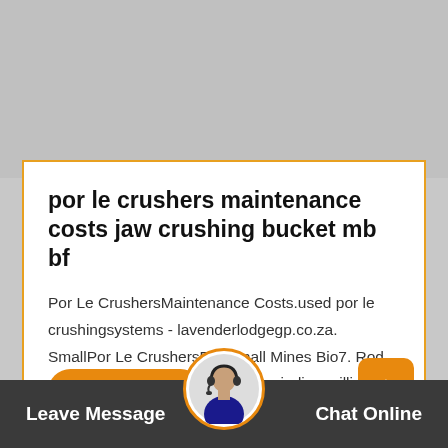[Figure (photo): Gray placeholder image area at the top of the page]
por le crushers maintenance costs jaw crushing bucket mb bf
Por Le CrushersMaintenance Costs.used por le crushingsystems - lavenderlodgegp.co.za. SmallPor Le CrushersFor Small Mines Bio7. Rod mill for gold ore mining,goldrockgrinding milling plant machine sale,por…
Leave Message  Chat Online